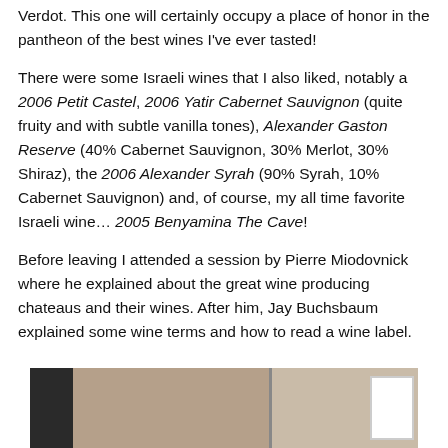Verdot. This one will certainly occupy a place of honor in the pantheon of the best wines I've ever tasted!
There were some Israeli wines that I also liked, notably a 2006 Petit Castel, 2006 Yatir Cabernet Sauvignon (quite fruity and with subtle vanilla tones), Alexander Gaston Reserve (40% Cabernet Sauvignon, 30% Merlot, 30% Shiraz), the 2006 Alexander Syrah (90% Syrah, 10% Cabernet Sauvignon) and, of course, my all time favorite Israeli wine… 2005 Benyamina The Cave!
Before leaving I attended a session by Pierre Miodovnick where he explained about the great wine producing chateaus and their wines. After him, Jay Buchsbaum explained some wine terms and how to read a wine label.
[Figure (photo): Partial view of a room interior, showing what appears to be a wall with framed items, tan/beige walls, and a dark element on the left edge.]